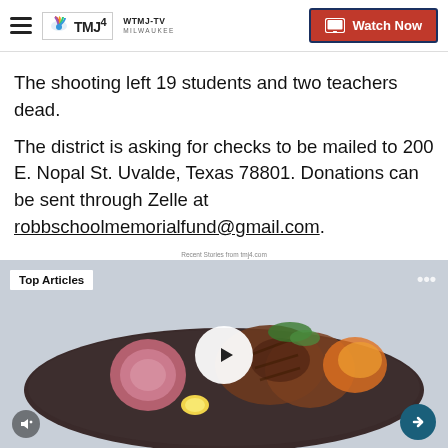WTMJ-TV Milwaukee | Watch Now
The shooting left 19 students and two teachers dead.
The district is asking for checks to be mailed to 200 E. Nopal St. Uvalde, Texas 78801. Donations can be sent through Zelle at robbschoolmemorialfund@gmail.com.
Recent Stories from tmj4.com
[Figure (screenshot): Video thumbnail showing a plate of grilled chicken/meat with red onion and lemon on a dark plate, with a play button overlay and 'Top Articles' badge in top left corner, and navigation arrow in bottom right.]